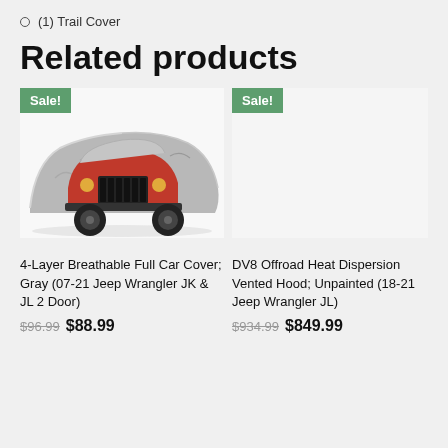(1) Trail Cover
Related products
[Figure (photo): Gray 4-layer car cover draped over a red Jeep Wrangler, front view]
4-Layer Breathable Full Car Cover; Gray (07-21 Jeep Wrangler JK & JL 2 Door)
$96.99 $88.99
[Figure (photo): DV8 Offroad Heat Dispersion Vented Hood product image (not visible)]
DV8 Offroad Heat Dispersion Vented Hood; Unpainted (18-21 Jeep Wrangler JL)
$934.99 $849.99